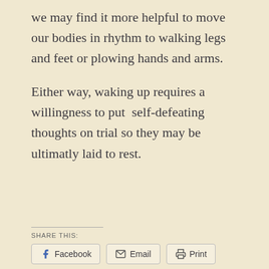we may find it more helpful to move our bodies in rhythm to walking legs and feet or plowing hands and arms.

Either way, waking up requires a willingness to put  self-defeating thoughts on trial so they may be ultimatly laid to rest.
SHARE THIS:
Facebook   Email   Print
Loading...